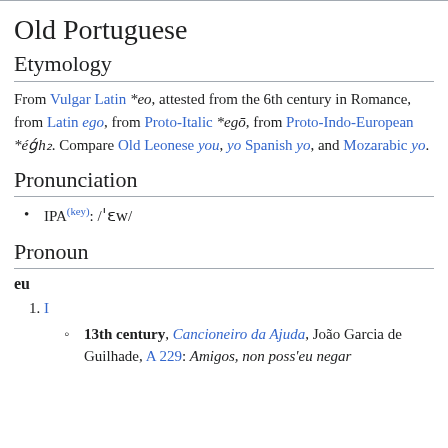Old Portuguese
Etymology
From Vulgar Latin *eo, attested from the 6th century in Romance, from Latin ego, from Proto-Italic *egō, from Proto-Indo-European *éǵh₂. Compare Old Leonese you, yo Spanish yo, and Mozarabic yo.
Pronunciation
IPA(key): /ˈɛw/
Pronoun
eu
I
13th century, Cancioneiro da Ajuda, João Garcia de Guilhade, A 229: Amigos, non poss'eu negar